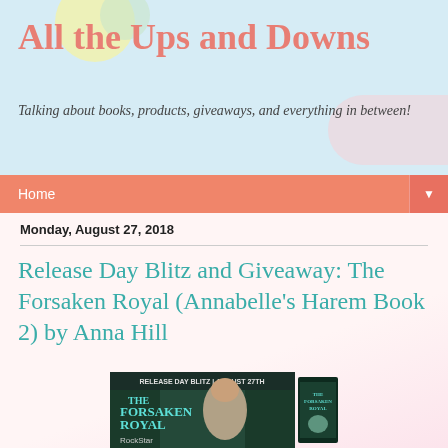All the Ups and Downs
Talking about books, products, giveaways, and everything in between!
Home
Monday, August 27, 2018
Release Day Blitz and Giveaway: The Forsaken Royal (Annabelle's Harem Book 2) by Anna Hill
[Figure (illustration): Book release day blitz banner for The Forsaken Royal, August 27th, showing book cover with a woman and teal/dark fantasy styling, and a smaller book cover on the right. RockStar text visible at bottom.]